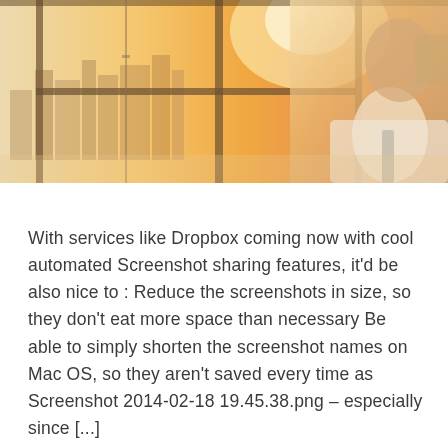[Figure (photo): A man in a white dress shirt adjusting his tie, standing by large window panels with a warm cityscape/skyline visible in the background bathed in golden light.]
With services like Dropbox coming now with cool automated Screenshot sharing features, it'd be also nice to : Reduce the screenshots in size, so they don't eat more space than necessary Be able to simply shorten the screenshot names on Mac OS, so they aren't saved every time as Screenshot 2014-02-18 19.45.38.png – especially since [...]